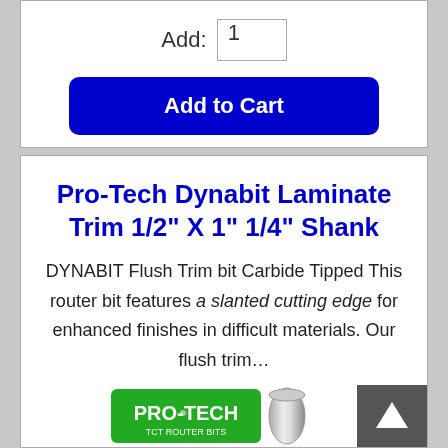Add: 1
Add to Cart
Pro-Tech Dynabit Laminate Trim 1/2" X 1" 1/4" Shank
DYNABIT Flush Trim bit Carbide Tipped This router bit features a slanted cutting edge for enhanced finishes in difficult materials. Our flush trim…
[Figure (logo): PRO-TECH TCT ROUTER BITS green logo]
[Figure (photo): Metal router bit drill shaft photo]
[Figure (other): Arrow up scroll-to-top button]